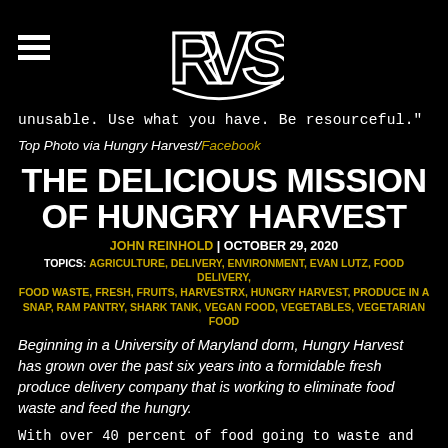RVS logo with hamburger menu
unusable. Use what you have. Be resourceful."
Top Photo via Hungry Harvest/Facebook
THE DELICIOUS MISSION OF HUNGRY HARVEST
JOHN REINHOLD | OCTOBER 29, 2020
TOPICS: AGRICULTURE, DELIVERY, ENVIRONMENT, EVAN LUTZ, FOOD DELIVERY, FOOD WASTE, FRESH, FRUITS, HARVESTRX, HUNGRY HARVEST, PRODUCE IN A SNAP, RAM PANTRY, SHARK TANK, VEGAN FOOD, VEGETABLES, VEGETARIAN FOOD
Beginning in a University of Maryland dorm, Hungry Harvest has grown over the past six years into a formidable fresh produce delivery company that is working to eliminate food waste and feed the hungry.
With over 40 percent of food going to waste and 20 billion